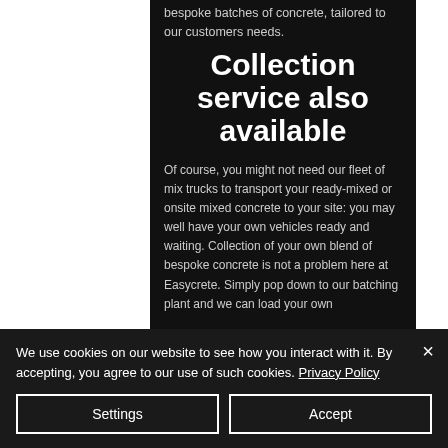bespoke batches of concrete, tailored to our customers needs.
Collection service also available
Of course, you might not need our fleet of mix trucks to transport your ready-mixed or onsite mixed concrete to your site: you may well have your own vehicles ready and waiting. Collection of your own blend of bespoke concrete is not a problem here at Easycrete. Simply pop down to our batching plant and we can load your own
We use cookies on our website to see how you interact with it. By accepting, you agree to our use of such cookies. Privacy Policy
Settings
Accept